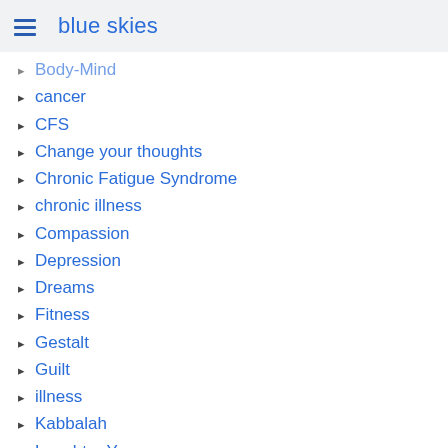blue skies
Body-Mind
cancer
CFS
Change your thoughts
Chronic Fatigue Syndrome
chronic illness
Compassion
Depression
Dreams
Fitness
Gestalt
Guilt
illness
Kabbalah
Laughter Yoga
Love
Magic
Mind-Body
mindfulness